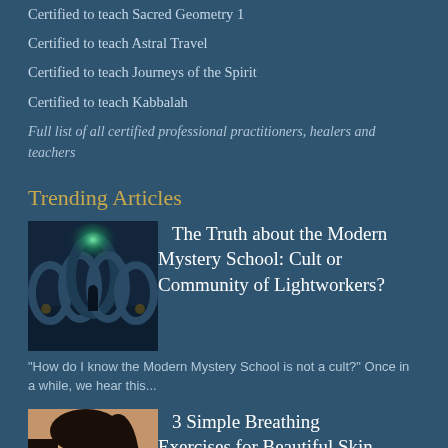Certified to teach Sacred Geometry 1
Certified to teach Astral Travel
Certified to teach Journeys of the Spirit
Certified to teach Kabbalah
Full list of all certified professional practitioners, healers and teachers
Trending Articles
[Figure (photo): A dimly lit mystical hall with arched doorways and a glowing green light]
The Truth about the Modern Mystery School: Cult or Community of Lightworkers?
"How do I know the Modern Mystery School is not a cult?" Once in a while, we hear this...
[Figure (photo): A young woman with dark hair posing thoughtfully with her hand near her face]
3 Simple Breathing Exercises for Beautiful Skin
Air is one of the 5 elements, along with Earth, Fire & Spirit. In the Modern My...